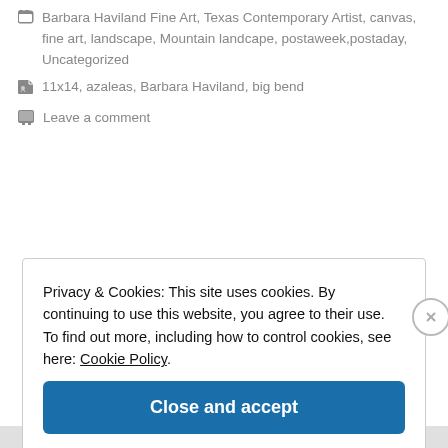Barbara Haviland Fine Art, Texas Contemporary Artist, canvas, fine art, landscape, Mountain landcape, postaweek,postaday, Uncategorized
11x14, azaleas, Barbara Haviland, big bend
Leave a comment
Privacy & Cookies: This site uses cookies. By continuing to use this website, you agree to their use.
To find out more, including how to control cookies, see here: Cookie Policy
Close and accept